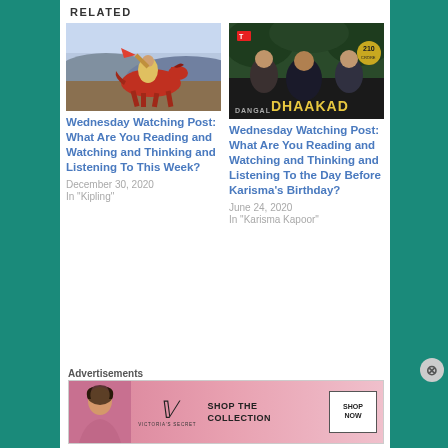RELATED
[Figure (photo): Painting of a rider on a red horse in battle scene]
Wednesday Watching Post: What Are You Reading and Watching and Thinking and Listening To This Week?
December 30, 2020
In "Kipling"
[Figure (photo): Movie promotional image for Dhaakad (Dangal vs Dhaakad) showing men in dark clothing with text overlay]
Wednesday Watching Post: What Are You Reading and Watching and Thinking and Listening To the Day Before Karisma's Birthday?
June 24, 2020
In "Karisma Kapoor"
Advertisements
[Figure (photo): Victoria's Secret advertisement banner with model and text 'SHOP THE COLLECTION' and 'SHOP NOW' button]